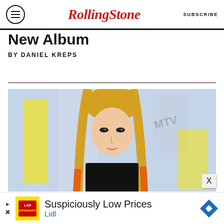RollingStone | SUBSCRIBE
New Album
BY DANIEL KREPS
[Figure (photo): Avril Lavigne with long blonde and orange-tipped hair wearing a black top, posing in front of a light blue and yellow MTV VMA background]
Suspiciously Low Prices
Lidl